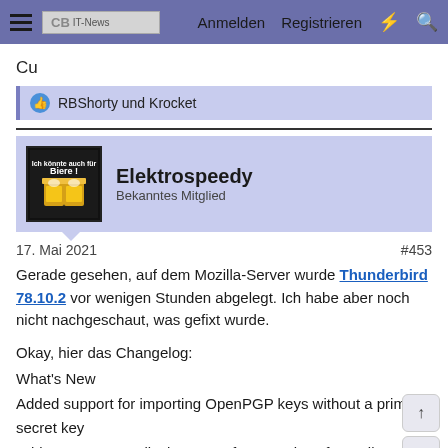Anmelden  Registrieren
Cu
👍 RBShorty und Krocket
Elektrospeedy
Bekanntes Mitglied
17. Mai 2021  #453
Gerade gesehen, auf dem Mozilla-Server wurde Thunderbird 78.10.2 vor wenigen Stunden abgelegt. Ich habe aber noch nicht nachgeschaut, was gefixt wurde.

Okay, hier das Changelog:
What's New
Added support for importing OpenPGP keys without a primary secret key
Add-ons manager displays a preferences icon for mail